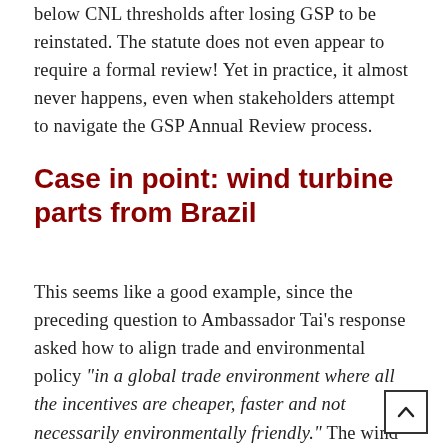below CNL thresholds after losing GSP to be reinstated. The statute does not even appear to require a formal review! Yet in practice, it almost never happens, even when stakeholders attempt to navigate the GSP Annual Review process.
Case in point: wind turbine parts from Brazil
This seems like a good example, since the preceding question to Ambassador Tai's response asked how to align trade and environmental policy "in a global trade environment where all the incentives are cheaper, faster and not necessarily environmentally friendly." The wind turbine parts lost GSP on July 1, 2006 based on 2005 imports of $143 million (CNL threshold: $120 million). Imports from Brazil